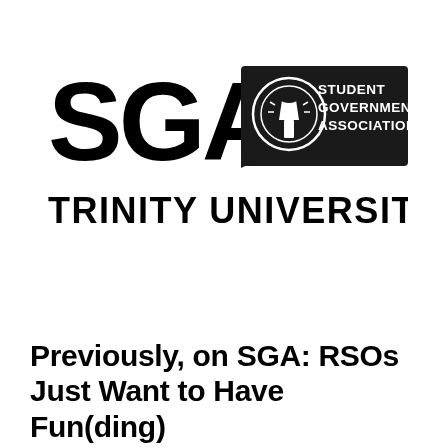[Figure (logo): SGA Student Government Association Trinity University logo — large bold black letters 'SGA' on the left, a black speech-bubble rectangle containing a circular emblem (a lamp/torch icon) and the text 'STUDENT GOVERNMENT ASSOCIATION' in white on the right, and 'TRINITY UNIVERSITY' in large black letters below.]
Previously, on SGA: RSOs Just Want to Have Fun(ding)